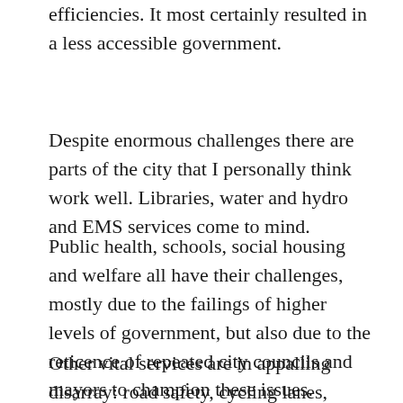efficiencies. It most certainly resulted in a less accessible government.
Despite enormous challenges there are parts of the city that I personally think work well. Libraries, water and hydro and EMS services come to mind.
Public health, schools, social housing and welfare all have their challenges, mostly due to the failings of higher levels of government, but also due to the reticence of repeated city councils and mayors to champion these issues.
Other vital services are in appalling disarray: road safety, cycling lanes, public washrooms and water fountains and shelters.